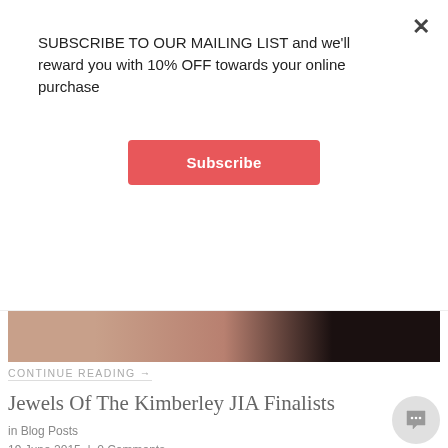SUBSCRIBE TO OUR MAILING LIST and we'll reward you with 10% OFF towards your online purchase
Subscribe
[Figure (photo): Close-up photo of hands near face/ear against dark background, representing jewellery styling]
CONTINUE READING →
Jewels Of The Kimberley JIA Finalists
in Blog Posts
19 June 2015 | 0 Comments
For the second year in a row, Jewels of the Kimberley was heralded as one of the finalists in five categories for the Jewellery Industry Awards (JIA). For 2015, these categories